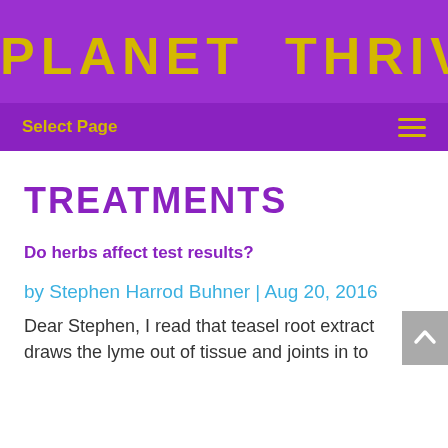PLANET THRIVE
Select Page
TREATMENTS
Do herbs affect test results?
by Stephen Harrod Buhner | Aug 20, 2016
Dear Stephen, I read that teasel root extract draws the lyme out of tissue and joints in to